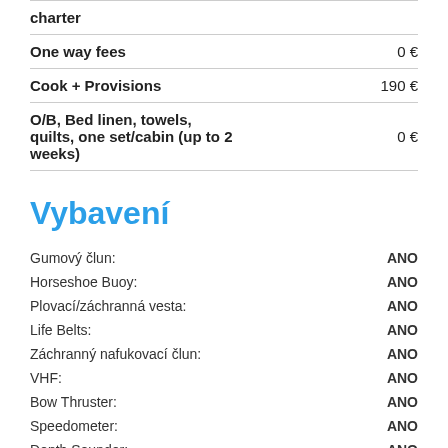| Item | Price |
| --- | --- |
| charter |  |
| One way fees | 0 € |
| Cook + Provisions | 190 € |
| O/B, Bed linen, towels, quilts, one set/cabin (up to 2 weeks) | 0 € |
Vybavení
| Equipment | Value |
| --- | --- |
| Gumový člun: | ANO |
| Horseshoe Buoy: | ANO |
| Plovací/záchranná vesta: | ANO |
| Life Belts: | ANO |
| Záchranný nafukovací člun: | ANO |
| VHF: | ANO |
| Bow Thruster: | ANO |
| Speedometer: | ANO |
| Depth Sounder: | ANO |